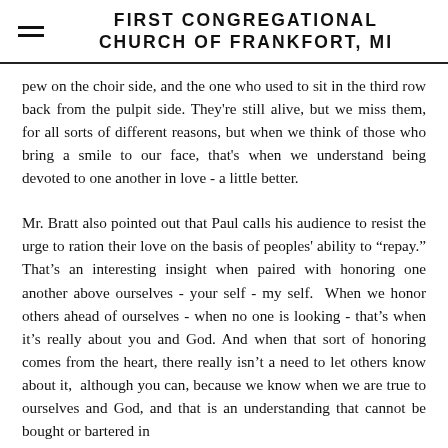FIRST CONGREGATIONAL CHURCH OF FRANKFORT, MI
pew on the choir side, and the one who used to sit in the third row back from the pulpit side. They're still alive, but we miss them, for all sorts of different reasons, but when we think of those who bring a smile to our face, that's when we understand being devoted to one another in love - a little better.
Mr. Bratt also pointed out that Paul calls his audience to resist the urge to ration their love on the basis of peoples' ability to “repay.” That's an interesting insight when paired with honoring one another above ourselves - your self - my self. When we honor others ahead of ourselves - when no one is looking - that's when it's really about you and God. And when that sort of honoring comes from the heart, there really isn't a need to let others know about it, although you can, because we know when we are true to ourselves and God, and that is an understanding that cannot be bought or bartered in